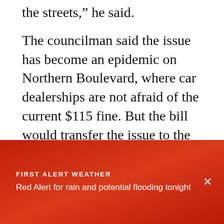the streets," he said.
The councilman said the issue has become an epidemic on Northern Boulevard, where car dealerships are not afraid of the current $115 fine. But the bill would transfer the issue to the Department of Consumer Affairs.
"It allows the commissioner to revoke their licenses if there are two infractions within a year," said Van Bramer.
That would shut down the dealerships.
FIRST ALERT WEATHER
Red Alert for rain and potential flooding tonight